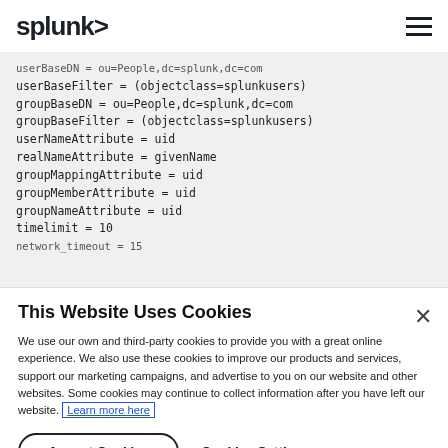splunk>
userBaseDN = ou=People,dc=splunk,dc=com
userBaseFilter = (objectclass=splunkusers)
groupBaseDN = ou=People,dc=splunk,dc=com
groupBaseFilter = (objectclass=splunkusers)
userNameAttribute = uid
realNameAttribute = givenName
groupMappingAttribute = uid
groupMemberAttribute = uid
groupNameAttribute = uid
timelimit = 10
network_timeout = 15
This Website Uses Cookies
We use our own and third-party cookies to provide you with a great online experience. We also use these cookies to improve our products and services, support our marketing campaigns, and advertise to you on our website and other websites. Some cookies may continue to collect information after you have left our website. Learn more here
Accept Cookies
Cookies Settings ›